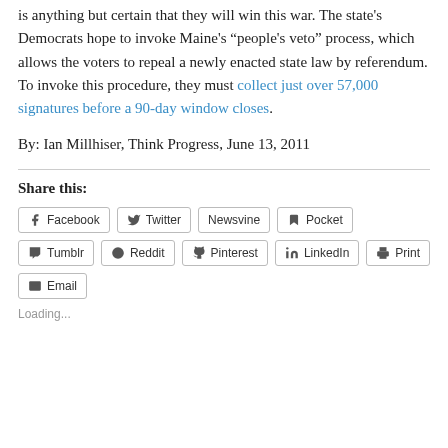is anything but certain that they will win this war. The state's Democrats hope to invoke Maine's “people's veto” process, which allows the voters to repeal a newly enacted state law by referendum. To invoke this procedure, they must collect just over 57,000 signatures before a 90-day window closes.
By: Ian Millhiser, Think Progress, June 13, 2011
Share this:
Facebook Twitter Newsvine Pocket Tumblr Reddit Pinterest LinkedIn Print Email
Loading...